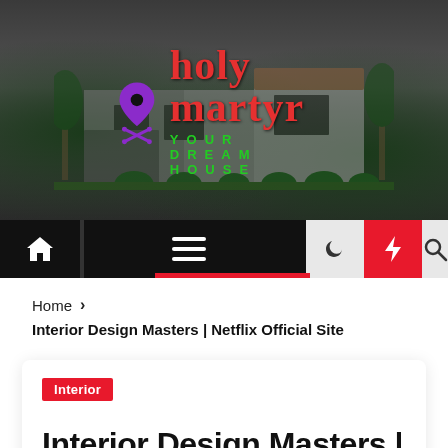[Figure (screenshot): Hero image of a modern house with holy martyr logo overlay showing a purple location pin icon with crossed bones, red 'holy martyr' text, and green 'YOUR DREAM HOUSE' tagline]
[Figure (screenshot): Navigation bar with home icon, hamburger menu, dark mode moon icon, red lightning bolt button, and search icon]
Home > Interior Design Masters | Netflix Official Site
Interior
Interior Design Masters |